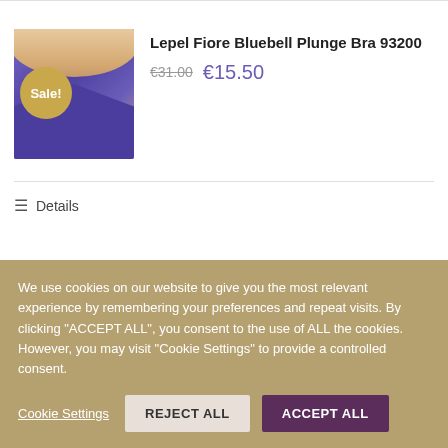[Figure (photo): Product photo of a purple/blue lace plunge bra with a gold 'Sale!' badge overlaid on the left side of the image]
Lepel Fiore Bluebell Plunge Bra 93200
€31.00  €15.50
☰ Details
We use cookies on our website to give you the most relevant experience by remembering your preferences and repeat visits. By clicking "ACCEPT ALL", you consent to the use of ALL the cookies. However, you may visit "Cookie Settings" to provide a controlled consent.
Cookie Settings   REJECT ALL   ACCEPT ALL